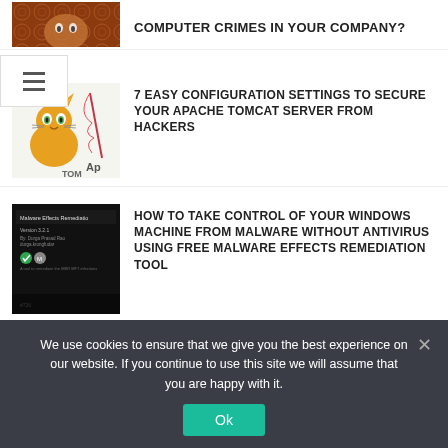[Figure (screenshot): Partial thumbnail image at top showing orange/red circuit pattern background]
COMPUTER CRIMES IN YOUR COMPANY?
[Figure (illustration): Apache Tomcat logo with cat mascot and feather]
7 EASY CONFIGURATION SETTINGS TO SECURE YOUR APACHE TOMCAT SERVER FROM HACKERS
[Figure (screenshot): Malware Effects Remediation tool dark screenshot]
HOW TO TAKE CONTROL OF YOUR WINDOWS MACHINE FROM MALWARE WITHOUT ANTIVIRUS USING FREE MALWARE EFFECTS REMEDIATION TOOL
[Figure (illustration): Hacking Android - green android robot on dark background with HACKING and ANDROID text]
HOW TO HACK AN ANDROID SMARTPHONE WITH EVIL DROID
We use cookies to ensure that we give you the best experience on our website. If you continue to use this site we will assume that you are happy with it.